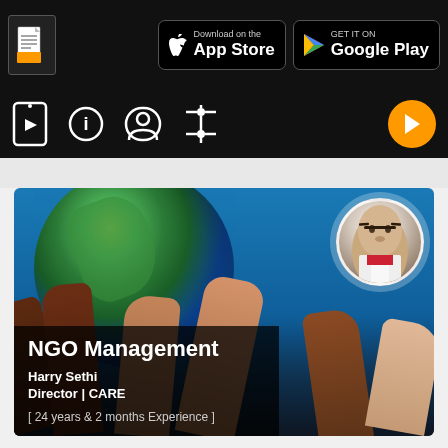[Figure (screenshot): App store download buttons: Apple App Store and Google Play, with document icon on dark navigation bar]
[Figure (screenshot): Navigation icon bar with play, info, profile, settings icons and orange play button on right, dark background]
[Figure (photo): Course card showing globe with hands reaching up, profile photo of instructor in top right circle. Dark overlay with course info: NGO Management, Harry Sethi, Director | CARE, 24 years & 2 months Experience]